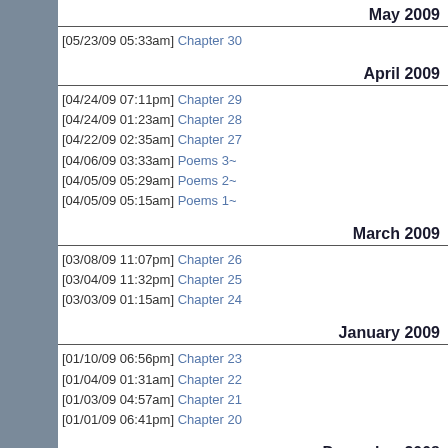May 2009
[05/23/09 05:33am] Chapter 30
April 2009
[04/24/09 07:11pm] Chapter 29
[04/24/09 01:23am] Chapter 28
[04/22/09 02:35am] Chapter 27
[04/06/09 03:33am] Poems 3~
[04/05/09 05:29am] Poems 2~
[04/05/09 05:15am] Poems 1~
March 2009
[03/08/09 11:07pm] Chapter 26
[03/04/09 11:32pm] Chapter 25
[03/03/09 01:15am] Chapter 24
January 2009
[01/10/09 06:56pm] Chapter 23
[01/04/09 01:31am] Chapter 22
[01/03/09 04:57am] Chapter 21
[01/01/09 06:41pm] Chapter 20
December 2008
[12/31/08 06:10am] Chapter 19
[12/29/08 06:19am] Chapter 18
[12/27/08 05:10am] Chapter 17